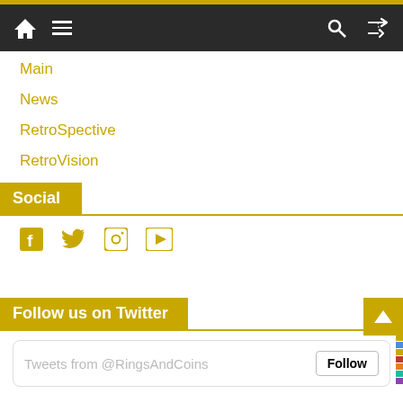Navigation bar with home icon, menu icon, search icon, shuffle icon
Main
News
RetroSpective
RetroVision
Social
[Figure (infographic): Social media icons: Facebook, Twitter, Instagram, YouTube in gold color]
Follow us on Twitter
Tweets from @RingsAndCoins
Follow